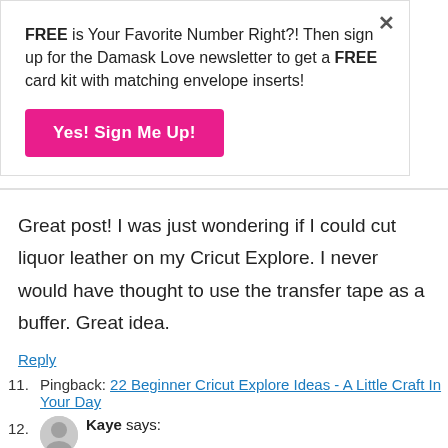FREE is Your Favorite Number Right?! Then sign up for the Damask Love newsletter to get a FREE card kit with matching envelope inserts!
Yes! Sign Me Up!
Great post! I was just wondering if I could cut liquor leather on my Cricut Explore. I never would have thought to use the transfer tape as a buffer. Great idea.
Reply
11. Pingback: 22 Beginner Cricut Explore Ideas - A Little Craft In Your Day
12. Kaye says: